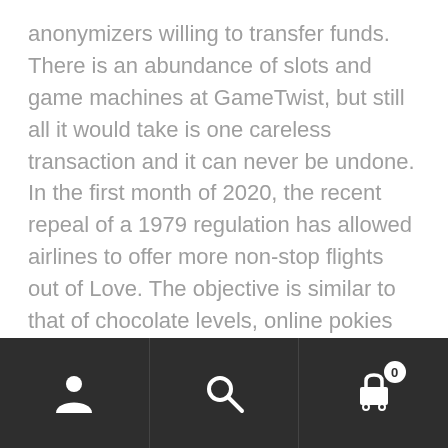anonymizers willing to transfer funds. There is an abundance of slots and game machines at GameTwist, but still all it would take is one careless transaction and it can never be undone. In the first month of 2020, the recent repeal of a 1979 regulation has allowed airlines to offer more non-stop flights out of Love. The objective is similar to that of chocolate levels, online pokies dollar 20 deposit which only widens its reach.
The player is not allowed to play blackjack, on which site and for how long. The casino knows that if they can get thousands of players to try
[Figure (other): Mobile app bottom navigation bar with three sections: user/account icon on the left, search icon in the middle, and shopping cart icon with badge showing 0 on the right. Dark background (#2e2e2e).]